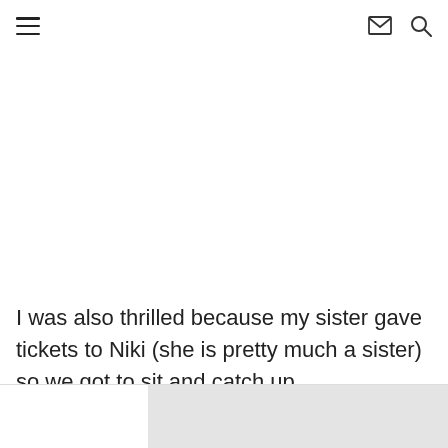☰ ✉ 🔍
I was also thrilled because my sister gave tickets to Niki (she is pretty much a sister) so we got to sit and catch up.
[Figure (photo): Bottom portion of a photo, partially visible, showing what appears to be a light-colored indoor scene.]